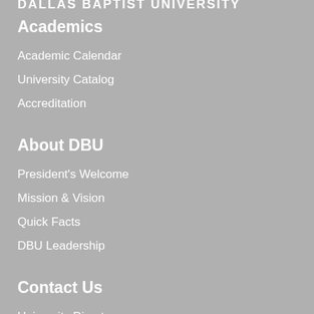DALLAS BAPTIST UNIVERSITY
Academics
Academic Calendar
University Catalog
Accreditation
About DBU
President's Welcome
Mission & Vision
Quick Facts
DBU Leadership
Contact Us
University Directory
Email Us